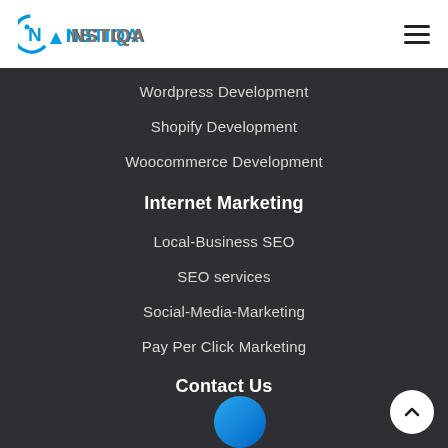[Figure (logo): INSTIQA logo with circular icon containing letter I and N, with a blue triangle, and text INSTIQA in blue and grey]
Wordpress Development
Shopify Development
Woocommerce Development
Internet Marketing
Local-Business SEO
SEO services
Social-Media-Marketing
Pay Per Click Marketing
Contact Us